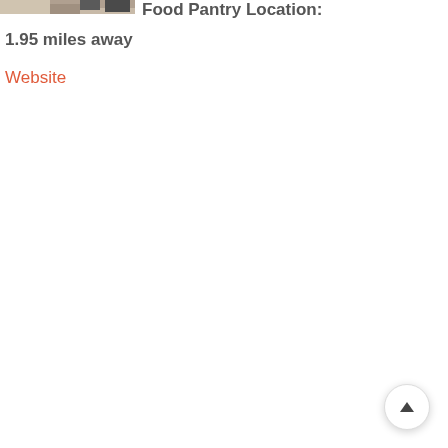[Figure (photo): Partial view of a building exterior or parking area with vehicles, cropped at top of page]
Food Pantry Location:
1.95 miles away
Website